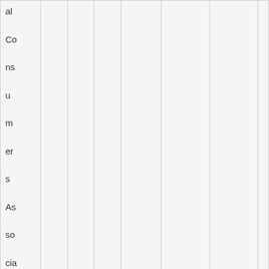| Co al Consumers Association Ltd |  |  |  |  |  |  |  |
| Ca th | Cl e | Sh | 18 | BT31 | 2049 | 8961 |  |